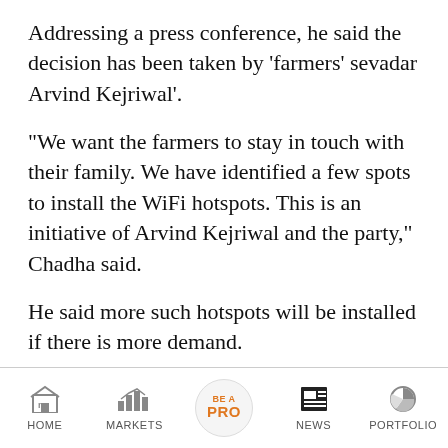Addressing a press conference, he said the decision has been taken by 'farmers' sevadar Arvind Kejriwal'.
"We want the farmers to stay in touch with their family. We have identified a few spots to install the WiFi hotspots. This is an initiative of Arvind Kejriwal and the party," Chadha said.
He said more such hotspots will be installed if there is more demand.
Follow our LIVE blog for updates on Farmers' Protest
HOME   MARKETS   BE A PRO   NEWS   PORTFOLIO